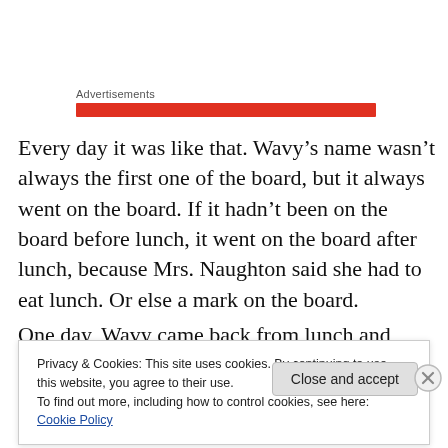Advertisements
[Figure (other): Red horizontal advertisement banner bar]
Every day it was like that. Wavy’s name wasn’t always the first one of the board, but it always went on the board. If it hadn’t been on the board before lunch, it went on the board after lunch, because Mrs. Naughton said she had to eat lunch. Or else a mark on the board.
One day, Wavy came back from lunch and wrote her own
Privacy & Cookies: This site uses cookies. By continuing to use this website, you agree to their use.
To find out more, including how to control cookies, see here: Cookie Policy
Close and accept